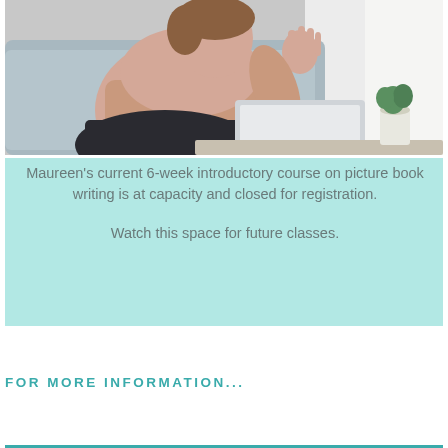[Figure (photo): Woman sitting on a sofa waving at a laptop screen during a video call, with a small plant visible in the background]
Maureen's current 6-week introductory course on picture book writing is at capacity and closed for registration.

Watch this space for future classes.
FOR MORE INFORMATION...